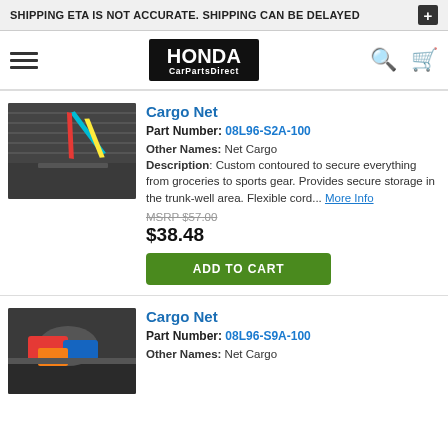SHIPPING ETA IS NOT ACCURATE. SHIPPING CAN BE DELAYED
[Figure (logo): Honda CarPartsDirect logo with hamburger menu, search icon, and cart icon]
Cargo Net
Part Number: 08L96-S2A-100
Other Names: Net Cargo
Description: Custom contoured to secure everything from groceries to sports gear. Provides secure storage in the trunk-well area. Flexible cord... More Info
MSRP $57.00
$38.48
ADD TO CART
Cargo Net
Part Number: 08L96-S9A-100
Other Names: Net Cargo